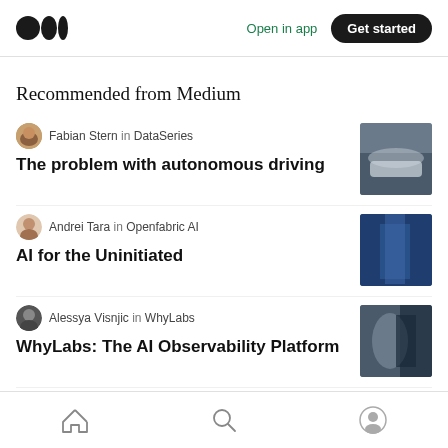Open in app | Get started
Recommended from Medium
Fabian Stern in DataSeries — The problem with autonomous driving
Andrei Tara in Openfabric AI — AI for the Uninitiated
Alessya Visnjic in WhyLabs — WhyLabs: The AI Observability Platform
Home | Search | Profile